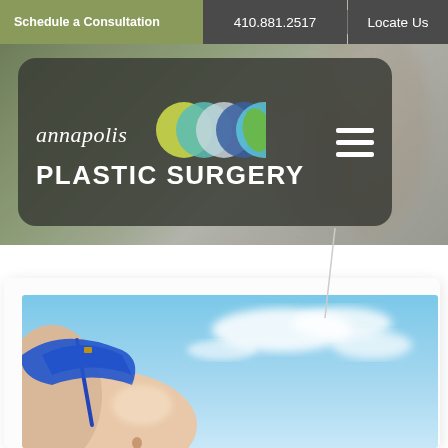Schedule a Consultation | 410.881.2517 | Locate Us
[Figure (logo): Annapolis Plastic Surgery logo with overlapping colored circles and white hamburger menu icon on dark rounded rectangle background]
[Figure (photo): Beach scene with person wearing blue bikini top, blue sky with clouds in background]